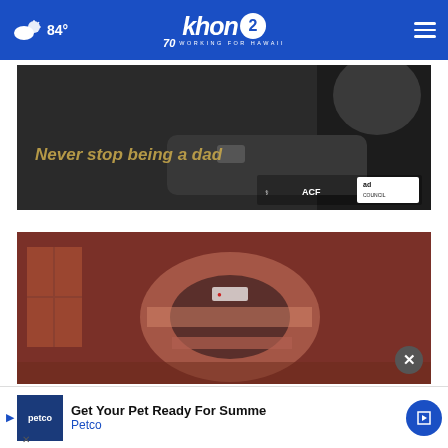84° khon2 WORKING FOR HAWAII
[Figure (photo): Black and white photo of a man holding a baby, with text overlay reading 'Never stop being a dad' and logos for ACF, National Responsible Fatherhood Clearinghouse, and Ad Council at bottom right]
[Figure (photo): Reddish-tinted photo showing a CT scanner in a medical room]
Get Your Pet Ready For Summe
Petco